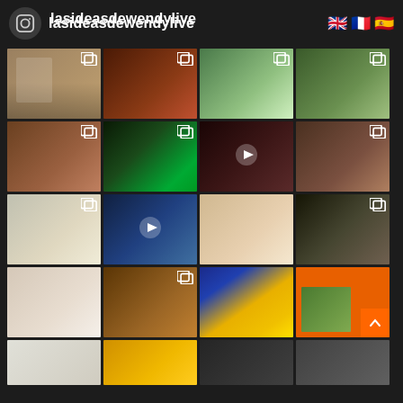[Figure (screenshot): Instagram profile page for 'lasideasdewendylive' showing a grid of photos on dark background, with UK, French, and Spanish flag icons in top right]
lasideasdewendylive